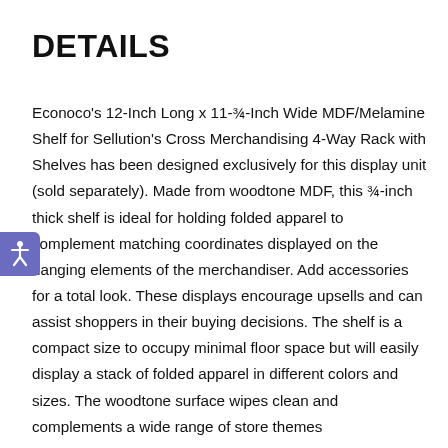DETAILS
Econoco's 12-Inch Long x 11-¾-Inch Wide MDF/Melamine Shelf for Sellution's Cross Merchandising 4-Way Rack with Shelves has been designed exclusively for this display unit (sold separately). Made from woodtone MDF, this ¾-inch thick shelf is ideal for holding folded apparel to complement matching coordinates displayed on the hanging elements of the merchandiser. Add accessories for a total look. These displays encourage upsells and can assist shoppers in their buying decisions. The shelf is a compact size to occupy minimal floor space but will easily display a stack of folded apparel in different colors and sizes. The woodtone surface wipes clean and complements a wide range of store themes